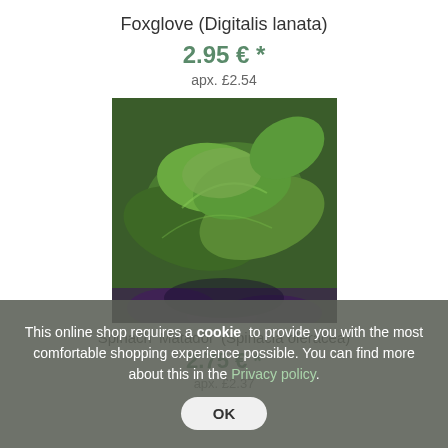Foxglove (Digitalis lanata)
2.95 € *
apx. £2.54
[Figure (photo): Close-up photo of Foxglove (Digitalis lanata) plant with green leaves and purple flowers visible at the bottom]
Spinach 'Matador' (Spinacia oleracea)
2.75 € *
apx. £2.37
This online shop requires a cookie to provide you with the most comfortable shopping experience possible. You can find more about this in the Privacy policy.
OK